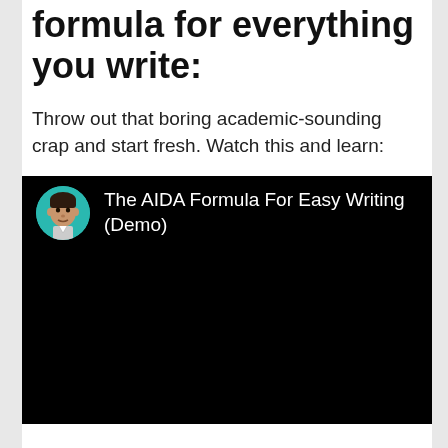formula for everything you write:
Throw out that boring academic-sounding crap and start fresh. Watch this and learn:
[Figure (screenshot): Video thumbnail showing a circular avatar photo of a man on a black background with text: The AIDA Formula For Easy Writing (Demo)]